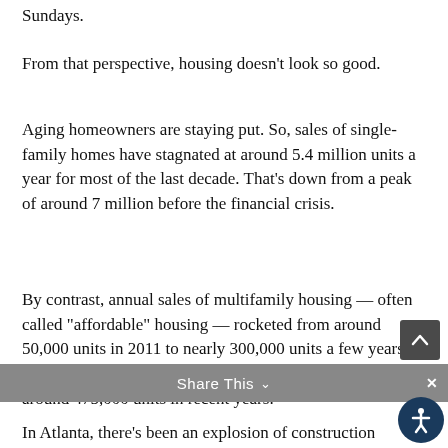Sundays.
From that perspective, housing doesn’t look so good.
Aging homeowners are staying put. So, sales of single-family homes have stagnated at around 5.4 million units a year for most of the last decade. That’s down from a peak of around 7 million before the financial crisis.
By contrast, annual sales of multifamily housing — often called “affordable” housing — rocketed from around 50,000 units in 2011 to nearly 300,000 units a few years ago. Issuance of multifamily building permits averaged around 475,000 units in recent years.
Share This
In Atlanta, there’s been an explosion of construction